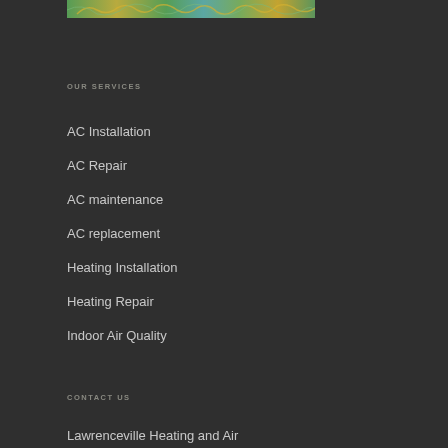[Figure (photo): Decorative image strip at top with colorful abstract/nature design in greens, yellows, and teals]
OUR SERVICES
AC Installation
AC Repair
AC maintenance
AC replacement
Heating Installation
Heating Repair
Indoor Air Quality
CONTACT US
Lawrenceville Heating and Air